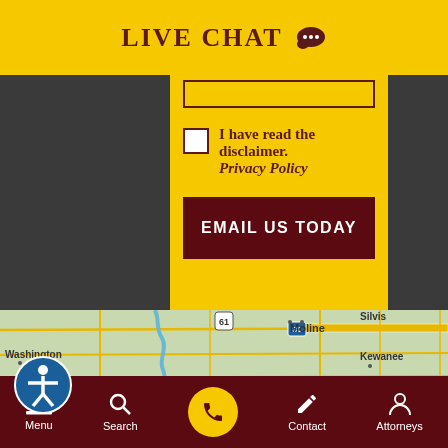LIVE CHAT
I have read the disclaimer. Privacy Policy
EMAIL US TODAY
[Figure (map): Google Maps showing Moline, Silvis, Washington, Kewanee, Mt Pleasant area in Illinois/Iowa region with road networks including route 61, 80, 218, 67]
Menu | Search | (call button) | Contact | Attorneys